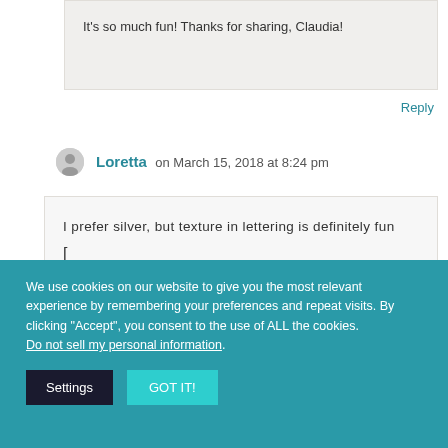It's so much fun! Thanks for sharing, Claudia!
Reply
Loretta on March 15, 2018 at 8:24 pm
I prefer silver, but texture in lettering is definitely fun [
We use cookies on our website to give you the most relevant experience by remembering your preferences and repeat visits. By clicking "Accept", you consent to the use of ALL the cookies. Do not sell my personal information. Settings GOT IT!